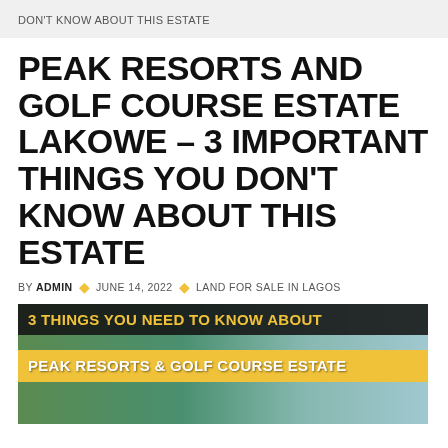DON'T KNOW ABOUT THIS ESTATE
PEAK RESORTS AND GOLF COURSE ESTATE LAKOWE – 3 IMPORTANT THINGS YOU DON'T KNOW ABOUT THIS ESTATE
BY ADMIN · JUNE 14, 2022 · LAND FOR SALE IN LAGOS
[Figure (photo): Promotional image with text overlay: '3 THINGS YOU NEED TO KNOW ABOUT PEAK RESORTS & GOLF COURSE ESTATE' on a dark banner above a yellow banner, with background showing greenery and water.]